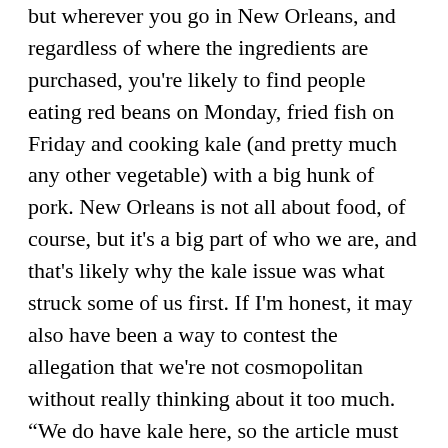but wherever you go in New Orleans, and regardless of where the ingredients are purchased, you're likely to find people eating red beans on Monday, fried fish on Friday and cooking kale (and pretty much any other vegetable) with a big hunk of pork. New Orleans is not all about food, of course, but it's a big part of who we are, and that's likely why the kale issue was what struck some of us first. If I'm honest, it may also have been a way to contest the allegation that we're not cosmopolitan without really thinking about it too much. “We do have kale here, so the article must be wrong about everything!” said the straw man I have constructed for this blog post.
But what the woman who saw no kale said is true, isn't it? We're not particularly cosmopolitan when compared with cities like New York, London or